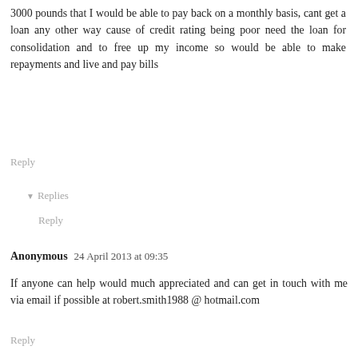3000 pounds that I would be able to pay back on a monthly basis, cant get a loan any other way cause of credit rating being poor need the loan for consolidation and to free up my income so would be able to make repayments and live and pay bills
Reply
▼ Replies
Reply
Anonymous 24 April 2013 at 09:35
If anyone can help would much appreciated and can get in touch with me via email if possible at robert.smith1988 @ hotmail.com
Reply
▼ Replies
Reply